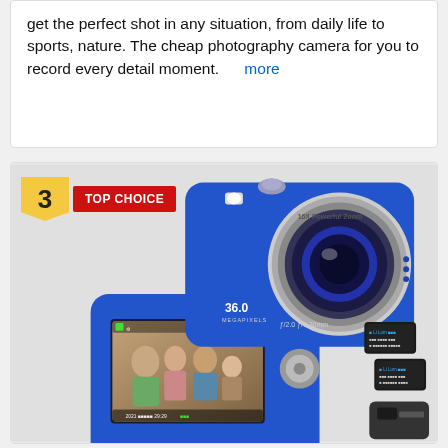get the perfect shot in any situation, from daily life to sports, nature. The cheap photography camera for you to record every detail moment.    more
[Figure (photo): Blue compact digital camera shown from front and back, with '3 TOP CHOICE' badge overlay. Front shows lens with '36.0 MEGAPIXELS' and '16X Powerful Zoom' text. Back shows LCD screen displaying a family photo. Camera accessories (batteries, charger) visible to the right.]